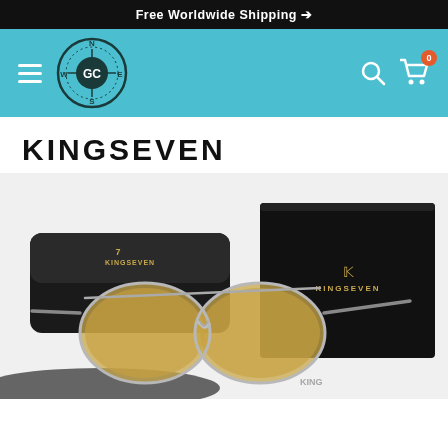Free Worldwide Shipping →
[Figure (logo): GC Compass logo with N/S/E/W directions and shopping cart icon with 0 badge and search icon on teal navigation bar]
KINGSEVEN
[Figure (photo): KINGSEVEN aviator sunglasses with gold/yellow tinted lenses and silver frame, displayed with black leather case and black gift box with gold KINGSEVEN branding, on a white background with black cloth]